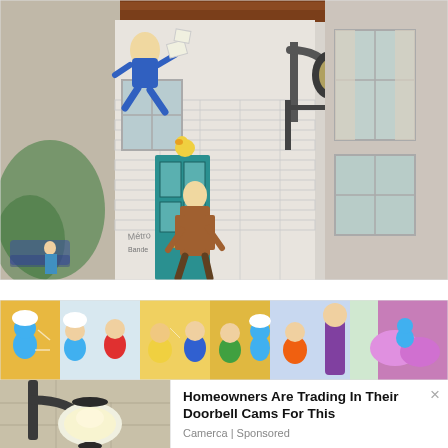[Figure (photo): Street scene in Brussels (Belgium) showing a building facade with comic book murals — a blue running figure and a brown-coated detective character painted on a white wall. A teal door is visible, with a wrought iron lamp bracket. Trees and parked cars line the street on the left. On the right side of the image is an adjacent building with large windows reflecting the street.]
[Figure (photo): Comic book mural on a building wall, depicting a crowd of colorful cartoon characters including what appear to be the Smurfs and other Belgian comic strip characters. The wall is painted in bright yellows, blues, reds, and purples.]
[Figure (photo): Partial view of a stone wall with a decorative outdoor wall-mounted lamp or lantern, showing a rounded glass globe fixture on a dark metal arm bracket, set against a beige/tan stone wall.]
Homeowners Are Trading In Their Doorbell Cams For This
Camerca | Sponsored